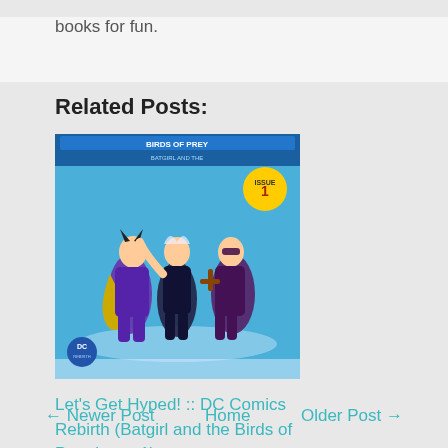books for fun.
Related Posts:
[Figure (illustration): Comic book cover for Batgirl and the Birds of Prey Issue 1 DC Comics Rebirth, showing three female superhero characters in dynamic poses against a blue background with the Birds of Prey logo at top.]
Let's Get Hyped! :: DC Comics Rebirth (Batgirl and the Birds of Prey Issue 1)
← Newer Post    Home    Older Post →